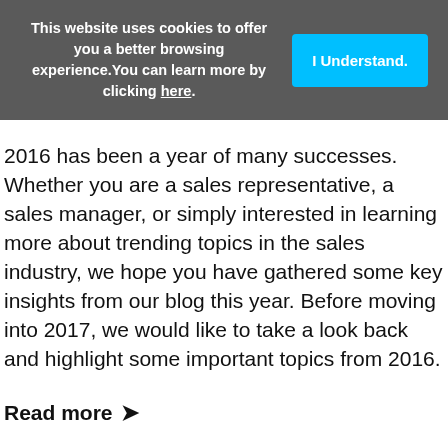This website uses cookies to offer you a better browsing experience. You can learn more by clicking here.
I Understand.
2016 has been a year of many successes. Whether you are a sales representative, a sales manager, or simply interested in learning more about trending topics in the sales industry, we hope you have gathered some key insights from our blog this year. Before moving into 2017, we would like to take a look back and highlight some important topics from 2016.
Read more >